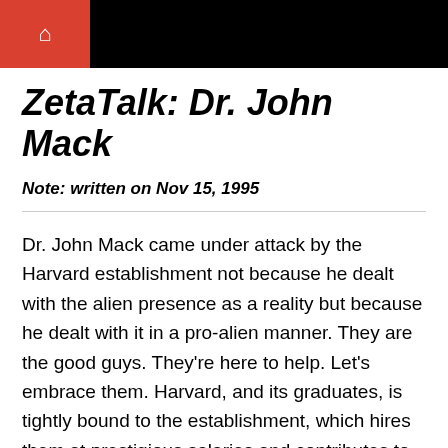🏠
ZetaTalk: Dr. John Mack
Note: written on Nov 15, 1995
Dr. John Mack came under attack by the Harvard establishment not because he dealt with the alien presence as a reality but because he dealt with it in a pro-alien manner. They are the good guys. They're here to help. Let's embrace them. Harvard, and its graduates, is tightly bound to the establishment, which hires them at prestigious salaries and contributes to the alma mater. The establishment, in sympathy with the New World Order crowd, wants the aliens to go away, or at a minimum for Earthlings to have nothing to do with them. They want to control Mack's message and how his research